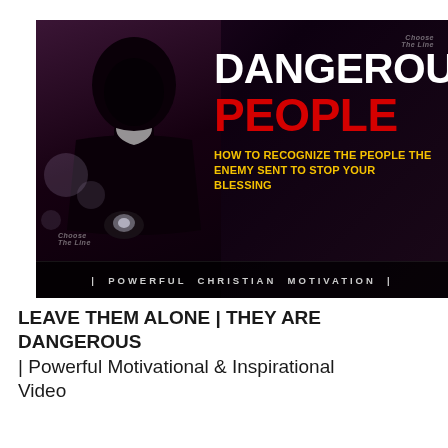[Figure (illustration): Thumbnail image with a dark background showing a shadowy hooded figure on the left side. On the right side, bold text reads 'DANGEROUS PEOPLE' with 'DANGEROUS' in white and 'PEOPLE' in red. Below that, yellow text reads 'HOW TO RECOGNIZE THE PEOPLE THE ENEMY SENT TO STOP YOUR BLESSING'. At the bottom, white text on dark bar reads '| POWERFUL CHRISTIAN MOTIVATION |'. A watermark logo appears in the top right corner.]
INSPIRATION
LEAVE THEM ALONE | THEY ARE DANGEROUS | Powerful Motivational & Inspirational Video